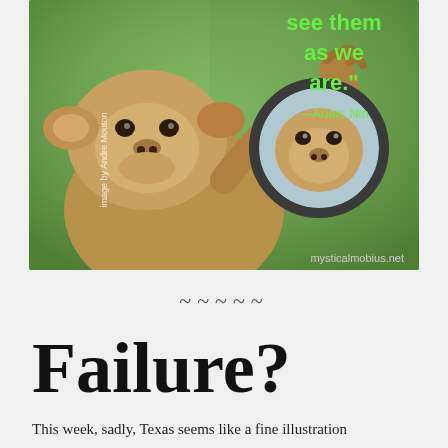[Figure (photo): A monkey looking at its reflection in a hand mirror, with green text overlay on the right side reading 'see them as we are.' —Anaïs Nin. A vertical watermark on the left reads 'image by Andre Mouton'. Bottom right text reads 'mysticalmobius.net'.]
~~~~~
Failure?
This week, sadly, Texas seems like a fine illustration